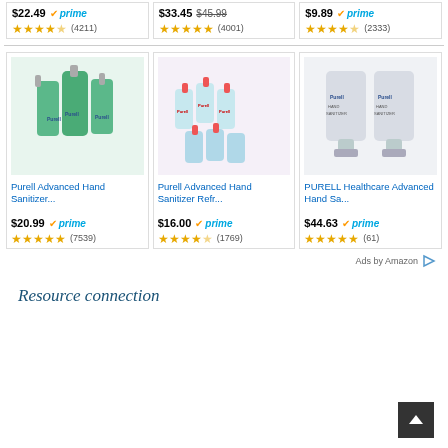[Figure (screenshot): Amazon product grid showing Purell hand sanitizer products with prices, Prime badges, star ratings, and review counts. Top row partial: $22.49 prime (4211 reviews), $33.45 strikethrough $45.99 (4001 reviews), $9.89 prime (2333 reviews). Bottom row: Purell Advanced Hand Sanitizer $20.99 prime 4.8 stars (7539), Purell Advanced Hand Sanitizer Refr... $16.00 prime 4.5 stars (1769), PURELL Healthcare Advanced Hand Sa... $44.63 prime 4.8 stars (61). Ads by Amazon footer. Resource connection section with back-to-top button.]